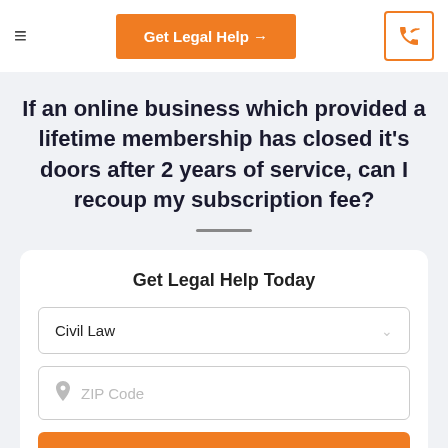Get Legal Help →
If an online business which provided a lifetime membership has closed it's doors after 2 years of service, can I recoup my subscription fee?
Get Legal Help Today
Civil Law
ZIP Code